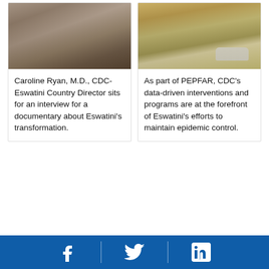[Figure (photo): Photo of Caroline Ryan, M.D. sitting for an interview, muted warm tones, indoor setting]
Caroline Ryan, M.D., CDC-Eswatini Country Director sits for an interview for a documentary about Eswatini’s transformation.
[Figure (photo): Photo of a white SUV on a dirt road in a dry, scrubby African landscape]
As part of PEPFAR, CDC’s data-driven interventions and programs are at the forefront of Eswatini’s efforts to maintain epidemic control.
Facebook | Twitter | LinkedIn